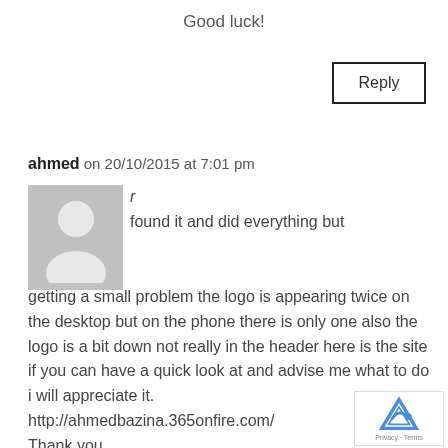Good luck!
Reply
ahmed on 20/10/2015 at 7:01 pm
[Figure (illustration): Generic avatar silhouette placeholder image]
found it and did everything but getting a small problem the logo is appearing twice on the desktop but on the phone there is only one also the logo is a bit down not really in the header here is the site if you can have a quick look at and advise me what to do i will appreciate it. http://ahmedbazina.365onfire.com/ Thank you